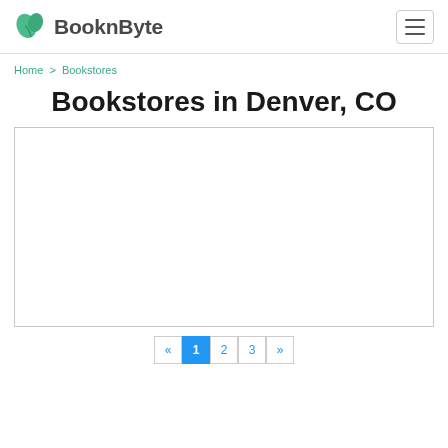BooknByte
Home > Bookstores
Bookstores in Denver, CO
[Figure (other): Empty white content box with border]
« 1 2 3 »